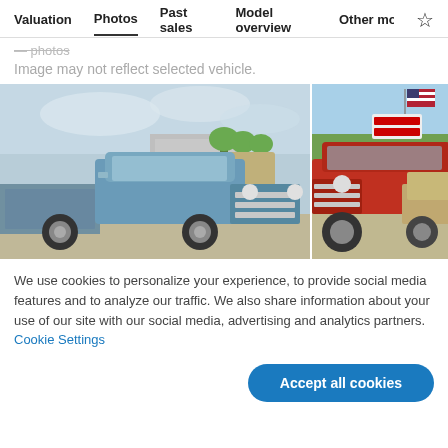Valuation  Photos  Past sales  Model overview  Other mo…
— photos
Image may not reflect selected vehicle.
[Figure (photo): Two vintage pickup trucks at an outdoor vehicle show. The foreground truck is a light blue classic pickup (International Harvester style), and to the right is a red vintage truck. Background shows more trucks and a building.]
We use cookies to personalize your experience, to provide social media features and to analyze our traffic. We also share information about your use of our site with our social media, advertising and analytics partners. Cookie Settings
Accept all cookies